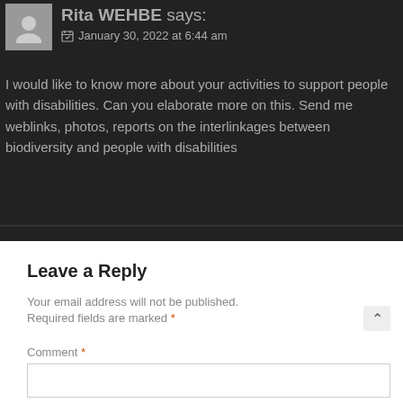Rita WEHBE says:
January 30, 2022 at 6:44 am
I would like to know more about your activities to support people with disabilities. Can you elaborate more on this. Send me weblinks, photos, reports on the interlinkages between biodiversity and people with disabilities
Reply
Leave a Reply
Your email address will not be published.
Required fields are marked *
Comment *